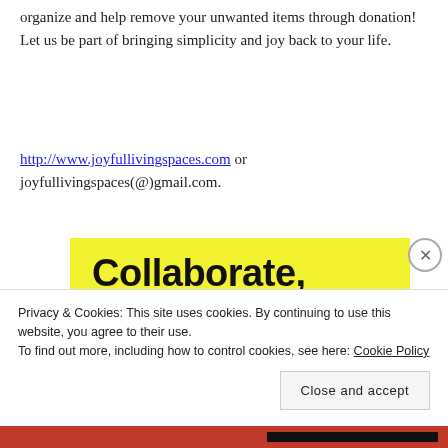organize and help remove your unwanted items through donation! Let us be part of bringing simplicity and joy back to your life.
http://www.joyfullivingspaces.com or joyfullivingspaces(@)gmail.com.
[Figure (other): Yellow advertisement banner with bold black text reading 'Collaborate, P2.' and WordPress 'Powered by' logo in bottom right corner.]
Privacy & Cookies: This site uses cookies. By continuing to use this website, you agree to their use. To find out more, including how to control cookies, see here: Cookie Policy
Close and accept